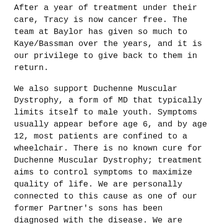After a year of treatment under their care, Tracy is now cancer free. The team at Baylor has given so much to Kaye/Bassman over the years, and it is our privilege to give back to them in return.
We also support Duchenne Muscular Dystrophy, a form of MD that typically limits itself to male youth. Symptoms usually appear before age 6, and by age 12, most patients are confined to a wheelchair. There is no known cure for Duchenne Muscular Dystrophy; treatment aims to control symptoms to maximize quality of life. We are personally connected to this cause as one of our former Partner's sons has been diagnosed with the disease. We are hopeful to provide funding for a cure.
Sponsor & Donate
[Figure (illustration): Black background image with white shopping cart icon and text 'Flat Donation' below]
FLAT DONATION
$20.00